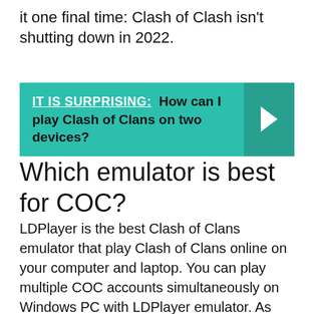it one final time: Clash of Clash isn't shutting down in 2022.
[Figure (infographic): Teal banner with text: IT IS SURPRISING: How can I play Clash of Clans on two devices? with a right-arrow chevron on the right side.]
Which emulator is best for COC?
LDPlayer is the best Clash of Clans emulator that play Clash of Clans online on your computer and laptop. You can play multiple COC accounts simultaneously on Windows PC with LDPlayer emulator. As the best Clash of Clans simulator, LDPlayer offers fast and smooth support for playing Clash of Clans on PC with no cost.